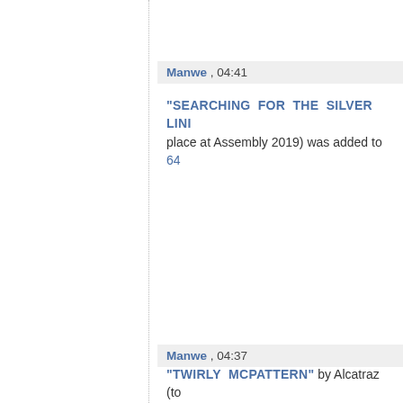Manwe , 04:41
"SEARCHING FOR THE SILVER LINI... place at Assembly 2019) was added to 64...
Manwe , 04:37
"TWIRLY MCPATTERN" by Alcatraz (to... 2020) was added to 64k-intro.
Manwe , 04:32
"HYDRAULIC PIXELS" by Astroidea (to... 2020) was added to 64k-intro.
Manwe , 04:28